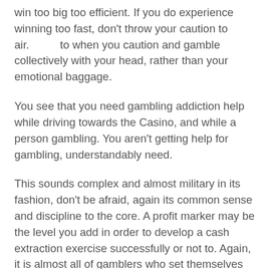win too big too efficient. If you do experience winning too fast, don't throw your caution to air.         to when you caution and gamble collectively with your head, rather than your emotional baggage.
You see that you need gambling addiction help while driving towards the Casino, and while a person gambling. You aren't getting help for gambling, understandably need.
This sounds complex and almost military in its fashion, don't be afraid, again its common sense and discipline to the core. A profit marker may be the level you add in order to develop a cash extraction exercise successfully or not to. Again, it is almost all of gamblers who set themselves 80 percent plus margins of profit which are beyond reach unless luck intervenes.
There are so very many games that could certainly